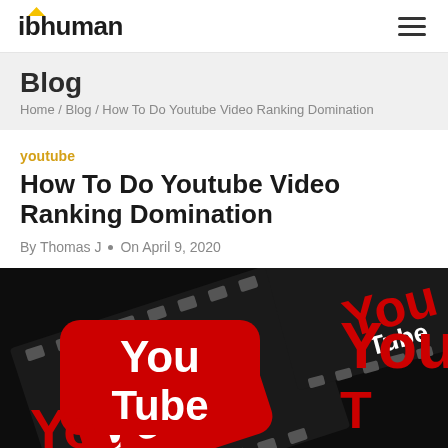ibhuman [logo] [hamburger menu]
Blog
Home / Blog / How To Do Youtube Video Ranking Domination
youtube
How To Do Youtube Video Ranking Domination
By Thomas J  •  On April 9, 2020
[Figure (photo): Film strip reels featuring YouTube logo (red play button with 'Tube' text and 'You' text visible on black film strip background)]